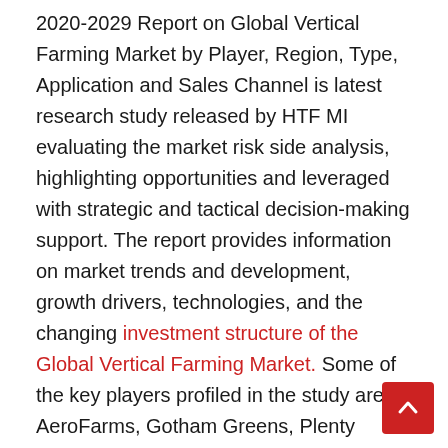2020-2029 Report on Global Vertical Farming Market by Player, Region, Type, Application and Sales Channel is latest research study released by HTF MI evaluating the market risk side analysis, highlighting opportunities and leveraged with strategic and tactical decision-making support. The report provides information on market trends and development, growth drivers, technologies, and the changing investment structure of the Global Vertical Farming Market. Some of the key players profiled in the study are AeroFarms, Gotham Greens, Plenty (Bright Farms), Lufa Farms, Beijing IEDA Protected Horticulture, Green Sense Farms, Garden Fresh Farms, Mirai, Sky Vegetables, TruLeaf, Urban Crops, Sky Greens, GreenLand, Scatil, Jingpeng,